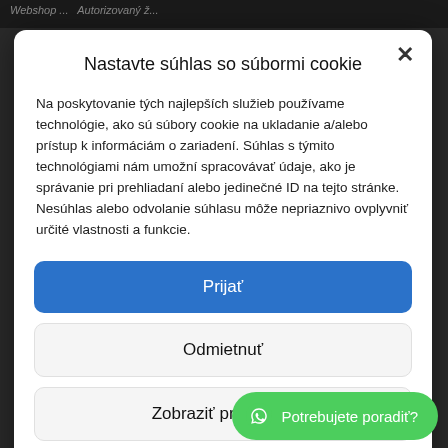Webshop ... Autorizovaný...
Nastavte súhlas so súbormi cookie
Na poskytovanie tých najlepších služieb používame technológie, ako sú súbory cookie na ukladanie a/alebo prístup k informáciám o zariadení. Súhlas s týmito technológiami nám umožní spracovávať údaje, ako je správanie pri prehliadaní alebo jedinečné ID na tejto stránke. Nesúhlas alebo odvolanie súhlasu môže nepriaznivo ovplyvniť určité vlastnosti a funkcie.
Prijať
Odmietnuť
Zobraziť predvoľby
Zásady používania súbor...
Potrebujete poradiť?